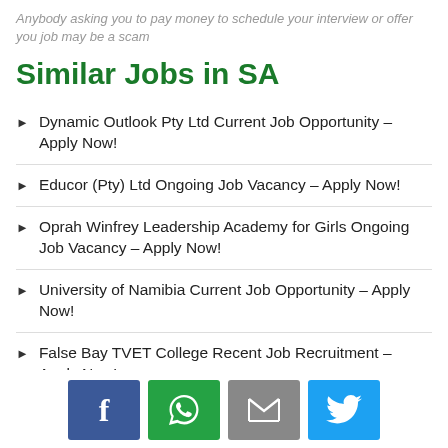Anybody asking you to pay money to schedule your interview or offer you job may be a scam
Similar Jobs in SA
Dynamic Outlook Pty Ltd Current Job Opportunity – Apply Now!
Educor (Pty) Ltd Ongoing Job Vacancy – Apply Now!
Oprah Winfrey Leadership Academy for Girls Ongoing Job Vacancy – Apply Now!
University of Namibia Current Job Opportunity – Apply Now!
False Bay TVET College Recent Job Recruitment – Apply Now!
Social share buttons: Facebook, WhatsApp, Email, Twitter